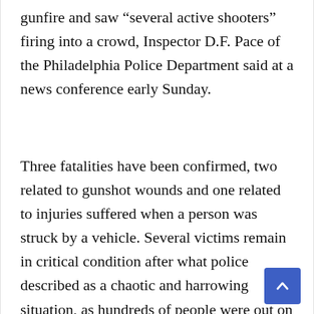gunfire and saw “several active shooters” firing into a crowd, Inspector D.F. Pace of the Philadelphia Police Department said at a news conference early Sunday.
Three fatalities have been confirmed, two related to gunshot wounds and one related to injuries suffered when a person was struck by a vehicle. Several victims remain in critical condition after what police described as a chaotic and harrowing situation, as hundreds of people were out on a pleasant summer night.